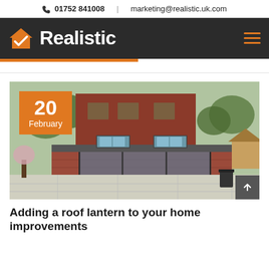01752 841008  |  marketing@realistic.uk.com
[Figure (logo): Realistic company logo with orange house/checkmark icon and white bold text 'Realistic' on dark background, with hamburger menu icon on right]
[Figure (photo): Exterior photo of a modern brick home extension with flat roof, roof lanterns/skylights, large sliding glass doors, and stone patio. Orange date badge overlay showing '20 February'. Scroll-to-top button in bottom right.]
Adding a roof lantern to your home improvements